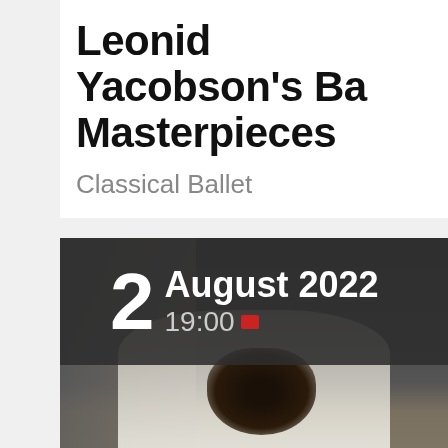Leonid Yacobson's Ba... Masterpieces
Classical Ballet
[Figure (photo): A dancer in a white flowing robe/costume against a dark gray wall background, with dark hair, photographed in a dramatic pose. Overlaid with a dark semi-transparent banner showing the date: 2 August 2022, 19:00]